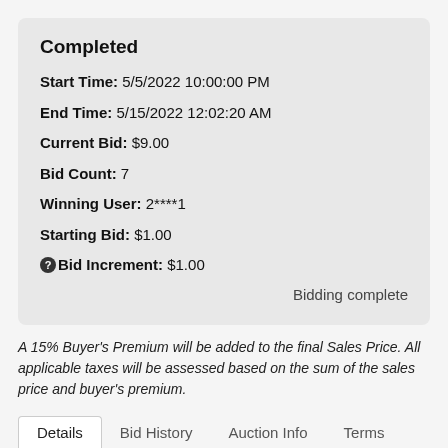Completed
Start Time: 5/5/2022 10:00:00 PM
End Time: 5/15/2022 12:02:20 AM
Current Bid: $9.00
Bid Count: 7
Winning User: 2****1
Starting Bid: $1.00
Bid Increment: $1.00
Bidding complete
A 15% Buyer's Premium will be added to the final Sales Price. All applicable taxes will be assessed based on the sum of the sales price and buyer's premium.
Details | Bid History | Auction Info | Terms